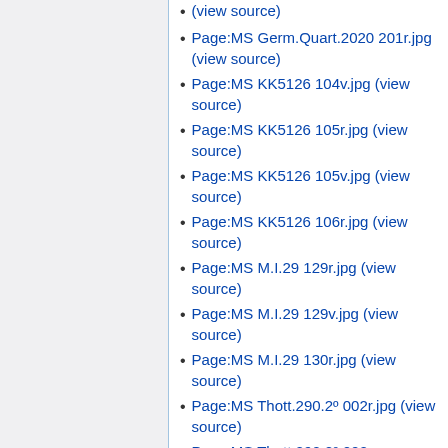(view source)
Page:MS Germ.Quart.2020 201r.jpg (view source)
Page:MS KK5126 104v.jpg (view source)
Page:MS KK5126 105r.jpg (view source)
Page:MS KK5126 105v.jpg (view source)
Page:MS KK5126 106r.jpg (view source)
Page:MS M.I.29 129r.jpg (view source)
Page:MS M.I.29 129v.jpg (view source)
Page:MS M.I.29 130r.jpg (view source)
Page:MS Thott.290.2º 002r.jpg (view source)
Page:MS Thott.290.2º 002r.jpg (view source)